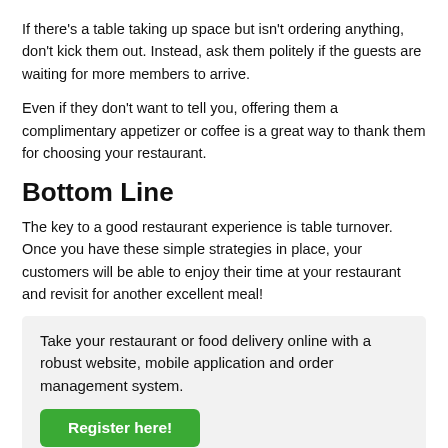If there's a table taking up space but isn't ordering anything, don't kick them out. Instead, ask them politely if the guests are waiting for more members to arrive.
Even if they don't want to tell you, offering them a complimentary appetizer or coffee is a great way to thank them for choosing your restaurant.
Bottom Line
The key to a good restaurant experience is table turnover. Once you have these simple strategies in place, your customers will be able to enjoy their time at your restaurant and revisit for another excellent meal!
Take your restaurant or food delivery online with a robust website, mobile application and order management system.
Register here!
Recent Blog Posts